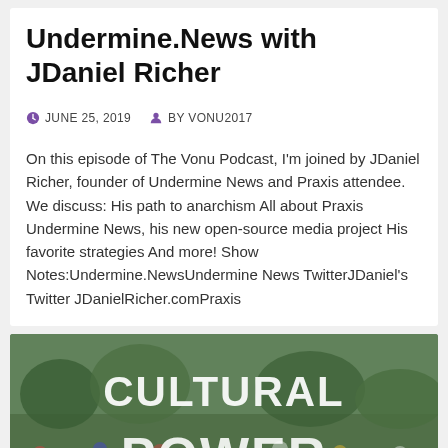Undermine.News with JDaniel Richer
JUNE 25, 2019   BY VONU2017
On this episode of The Vonu Podcast, I'm joined by JDaniel Richer, founder of Undermine News and Praxis attendee. We discuss: His path to anarchism All about Praxis Undermine News, his new open-source media project His favorite strategies And more! Show Notes:Undermine.NewsUndermine News TwitterJDaniel's Twitter JDanielRicher.comPraxis
[Figure (photo): Photo with large text overlay reading 'CULTURAL POWER' over a crowd scene outdoors]